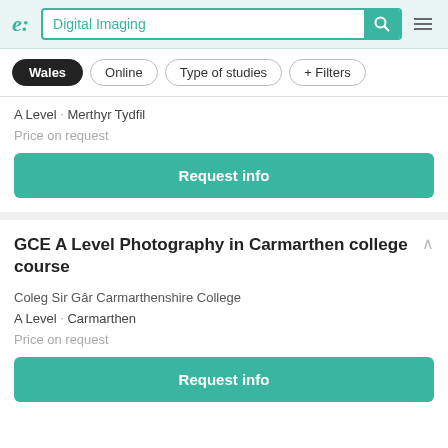Digital Imaging
Wales | Online | Type of studies | + Filters
A Level · Merthyr Tydfil
Price on request
Request info
GCE A Level Photography in Carmarthen college course
Coleg Sir Gâr Carmarthenshire College
A Level · Carmarthen
Price on request
Request info